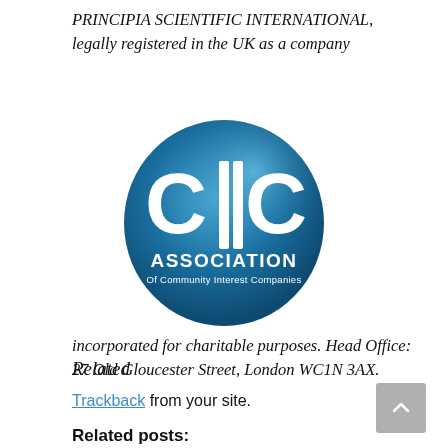PRINCIPIA SCIENTIFIC INTERNATIONAL, legally registered in the UK as a company
[Figure (logo): CIC Association – Of Community Interest Companies logo: blue oval badge with white CIC letters and 'ASSOCIATION Of Community Interest Companies' text]
incorporated for charitable purposes. Head Office: 27 Old Gloucester Street, London WC1N 3AX.
Related
Trackback from your site.
Related posts: